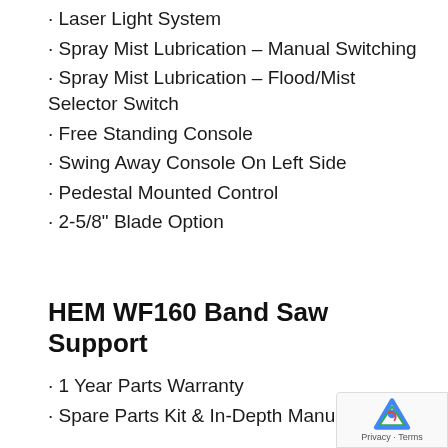Laser Light System
Spray Mist Lubrication – Manual Switching
Spray Mist Lubrication – Flood/Mist Selector Switch
Free Standing Console
Swing Away Console On Left Side
Pedestal Mounted Control
2-5/8" Blade Option
HEM WF160 Band Saw Support
1 Year Parts Warranty
Spare Parts Kit & In-Depth Manual